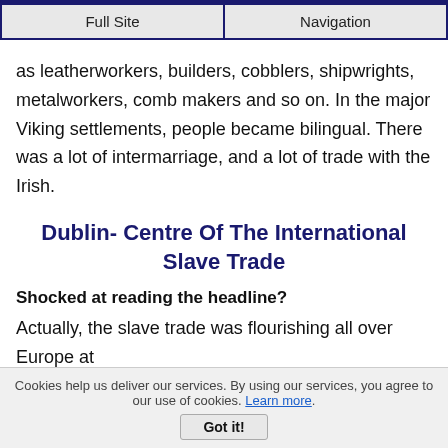Full Site | Navigation
as leatherworkers, builders, cobblers, shipwrights, metalworkers, comb makers and so on. In the major Viking settlements, people became bilingual. There was a lot of intermarriage, and a lot of trade with the Irish.
Dublin- Centre Of The International Slave Trade
Shocked at reading the headline?
Actually, the slave trade was flourishing all over Europe at
Cookies help us deliver our services. By using our services, you agree to our use of cookies. Learn more. Got it!